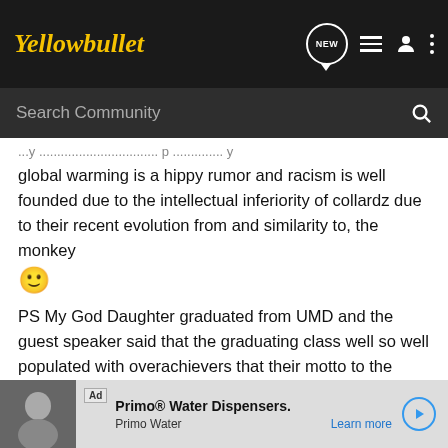Yellowbullet
global warming is a hippy rumor and racism is well founded due to the intellectual inferiority of collardz due to their recent evolution from and similarity to, the monkey 🙂
PS My God Daughter graduated from UMD and the guest speaker said that the graduating class well so well populated with overachievers that their motto to the world should be "Suck It!" he repeated this several times to a packed stadium of 60+ thousand....fvn sad if you ask me.
[Figure (screenshot): Ad banner for Primo Water Dispensers with woman drinking water image]